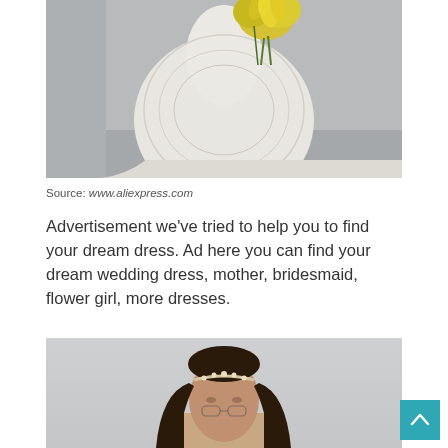[Figure (photo): White lace wedding dress with yellow flower bouquet, shot against a light grey background]
Source: www.aliexpress.com
Advertisement we've tried to help you to find your dream dress. Ad here you can find your dream wedding dress, mother, bridesmaid, flower girl, more dresses.
[Figure (photo): Dark-haired woman wearing a pearl/crystal headband, shot against a light grey background]